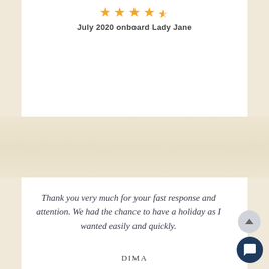[Figure (other): 4.5 star rating display with orange stars]
July 2020 onboard Lady Jane
[Figure (photo): Blurred background image of a boat or coastal scene]
Thank you very much for your fast response and attention. We had the chance to have a holiday as I wanted easily and quickly.
DIMA